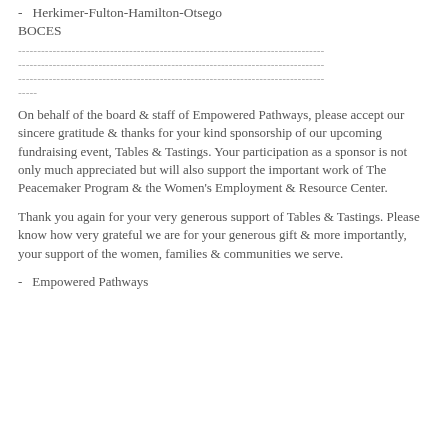- Herkimer-Fulton-Hamilton-Otsego BOCES
----------------------------------------------------------------------
----------------------------------------------------------------------
----------------------------------------------------------------------
-----
On behalf of the board & staff of Empowered Pathways, please accept our sincere gratitude & thanks for your kind sponsorship of our upcoming fundraising event, Tables & Tastings. Your participation as a sponsor is not only much appreciated but will also support the important work of The Peacemaker Program & the Women's Employment & Resource Center.
Thank you again for your very generous support of Tables & Tastings. Please know how very grateful we are for your generous gift & more importantly, your support of the women, families & communities we serve.
- Empowered Pathways